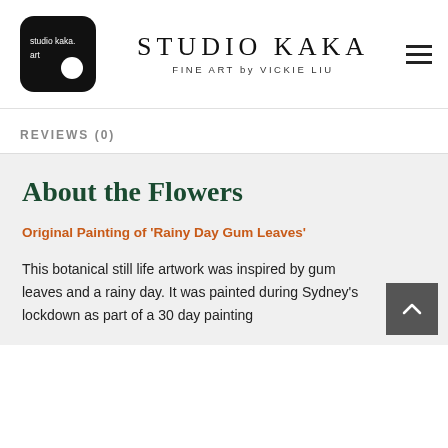[Figure (logo): Studio Kaka logo: black rounded square with white text 'studio kaka. art' and a white circle]
STUDIO KAKA
FINE ART by VICKIE LIU
REVIEWS (0)
About the Flowers
Original Painting of 'Rainy Day Gum Leaves'
This botanical still life artwork was inspired by gum leaves and a rainy day. It was painted during Sydney's lockdown as part of a 30 day painting